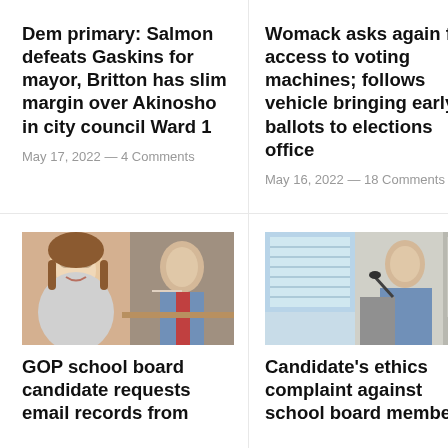Dem primary: Salmon defeats Gaskins for mayor, Britton has slim margin over Akinosho in city council Ward 1
May 17, 2022 — 4 Comments
Womack asks again for access to voting machines; follows vehicle bringing early ballots to elections office
May 16, 2022 — 18 Comments
[Figure (photo): Photo collage showing a woman smiling (left) and a man in a shirt and tie writing at a desk (right)]
[Figure (photo): Photo of a man in a blue polo shirt speaking at a podium with a microphone]
GOP school board candidate requests email records from
Candidate's ethics complaint against school board members